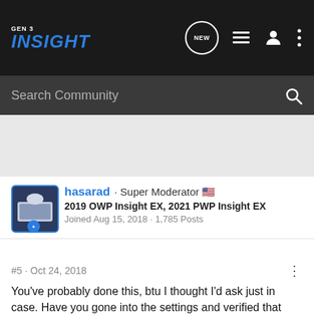[Figure (screenshot): Navigation bar with GEN 3 INSIGHT logo, NEW button, list icon, user icon, and more icon]
[Figure (screenshot): Search Community search bar with magnifying glass icon]
[Figure (screenshot): User profile section showing hasarad - Super Moderator with US flag, vehicle info '2019 OWP Insight EX, 2021 PWP Insight EX', joined Aug 15, 2018, 1,785 Posts]
#5 · Oct 24, 2018
You've probably done this, btu I thought I'd ask just in case. Have you gone into the settings and verified that walk-away auto-lock is still enabled.